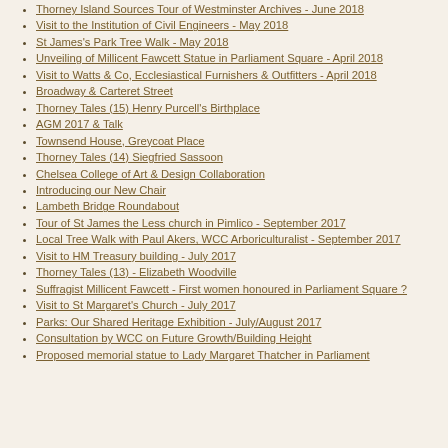Thorney Island Sources Tour of Westminster Archives - June 2018
Visit to the Institution of Civil Engineers - May 2018
St James's Park Tree Walk - May 2018
Unveiling of Millicent Fawcett Statue in Parliament Square - April 2018
Visit to Watts & Co, Ecclesiastical Furnishers & Outfitters - April 2018
Broadway & Carteret Street
Thorney Tales (15) Henry Purcell's Birthplace
AGM 2017 & Talk
Townsend House, Greycoat Place
Thorney Tales (14) Siegfried Sassoon
Chelsea College of Art & Design Collaboration
Introducing our New Chair
Lambeth Bridge Roundabout
Tour of St James the Less church in Pimlico - September 2017
Local Tree Walk with Paul Akers, WCC Arboriculturalist - September 2017
Visit to HM Treasury building - July 2017
Thorney Tales (13) - Elizabeth Woodville
Suffragist Millicent Fawcett - First women honoured in Parliament Square ?
Visit to St Margaret's Church - July 2017
Parks: Our Shared Heritage Exhibition - July/August 2017
Consultation by WCC on Future Growth/Building Height
Proposed memorial statue to Lady Margaret Thatcher in Parliament